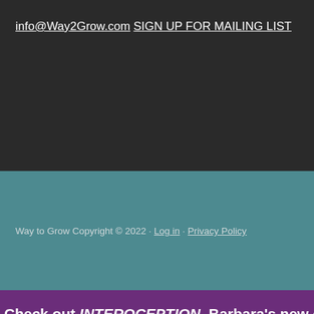info@Way2Grow.com
SIGN UP FOR MAILING LIST
Way to Grow Copyright © 2022 · Log in · Privacy Policy
Check out INTEROCEPTION, Barbara's new e-book.